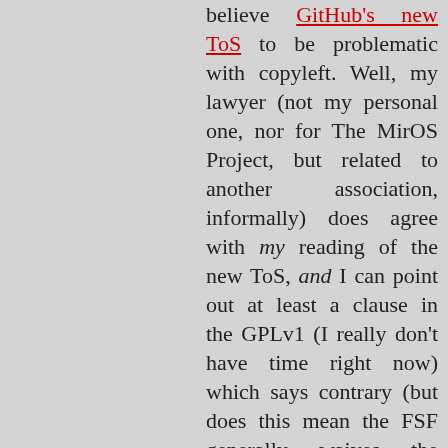believe GitHub's new ToS to be problematic with copyleft. Well, my lawyer (not my personal one, nor for The MirOS Project, but related to another association, informally) does agree with my reading of the new ToS, and I can point out at least a clause in the GPLv1 (I really don't have time right now) which says contrary (but does this mean the FSF generally waives the restrictions of the GPL for anything on GitHub?). I'll eMail GitHub Legal directly and will try to continue getting this fixed (as soon as I have